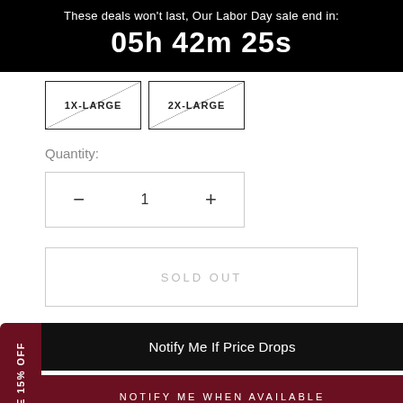These deals won't last, Our Labor Day sale end in: 05h 42m 25s
[Figure (other): Two size option boxes labeled 1X-LARGE and 2X-LARGE with diagonal strikethrough lines indicating unavailability]
Quantity:
— 1 +
SOLD OUT
SAVE 15% OFF
Notify Me If Price Drops
NOTIFY ME WHEN AVAILABLE